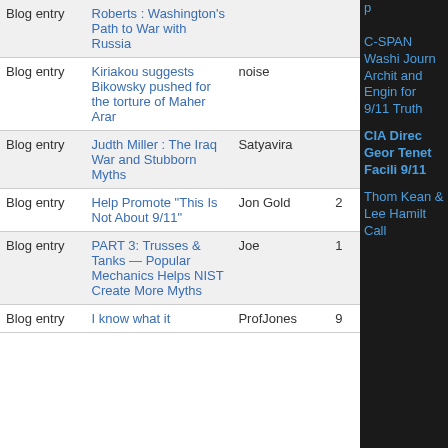| Type | Title | Author | Comments |
| --- | --- | --- | --- |
| Blog entry | Roberts : Washington's Path to War with Russia |  |  |
| Blog entry | Kiriakou suggests Bikowsky pushed for the torture of Maher Arar | noise |  |
| Blog entry | Judth Miller : The Iraq War and Stubborn Myths | Satyavira |  |
| Blog entry | Help Promote "This Is Not About 9/11" | Jon Gold | 2 |
| Blog entry | PART 3: Trusses & Tanks — Popular Mechanics Helps NIST Create More Myths | Joe | 1 |
| Blog entry | I know what it | ProfJones | 9 |
C-SPAN Washington Journal Architects and Engineers for 9/11 Truth
CIA Director George Tenet Facilitating 9/11
Thomas Kean & Lee Hamilton Call